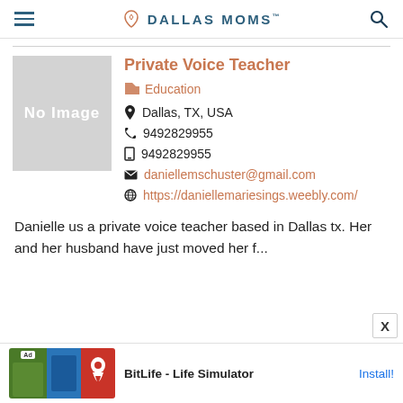DALLAS MOMS
Private Voice Teacher
Education
Dallas, TX, USA
9492829955
9492829955
daniellemschuster@gmail.com
https://daniellemariesings.weebly.com/
Danielle us a private voice teacher based in Dallas tx. Her and her husband have just moved her f...
[Figure (screenshot): No Image placeholder box]
Ad BitLife - Life Simulator Install!